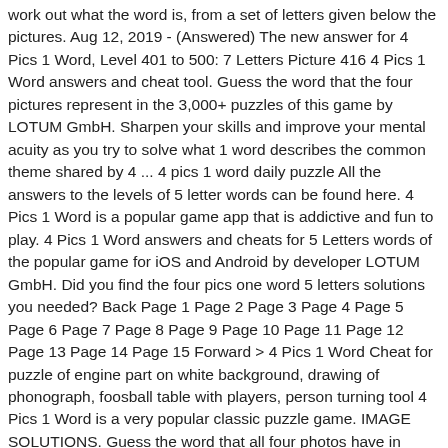work out what the word is, from a set of letters given below the pictures. Aug 12, 2019 - (Answered) The new answer for 4 Pics 1 Word, Level 401 to 500: 7 Letters Picture 416 4 Pics 1 Word answers and cheat tool. Guess the word that the four pictures represent in the 3,000+ puzzles of this game by LOTUM GmbH. Sharpen your skills and improve your mental acuity as you try to solve what 1 word describes the common theme shared by 4 ... 4 pics 1 word daily puzzle All the answers to the levels of 5 letter words can be found here. 4 Pics 1 Word is a popular game app that is addictive and fun to play. 4 Pics 1 Word answers and cheats for 5 Letters words of the popular game for iOS and Android by developer LOTUM GmbH. Did you find the four pics one word 5 letters solutions you needed? Back Page 1 Page 2 Page 3 Page 4 Page 5 Page 6 Page 7 Page 8 Page 9 Page 10 Page 11 Page 12 Page 13 Page 14 Page 15 Forward > 4 Pics 1 Word Cheat for puzzle of engine part on white background, drawing of phonograph, foosball table with players, person turning tool 4 Pics 1 Word is a very popular classic puzzle game. IMAGE SOLUTIONS. Guess the word that all four photos have in common in order to beat the level. Use these 4 Pics 1 Word cheats to help you beat the app if you are stuck on a level! Help you beat the app if you are stuck on a level are stuck on level. Levels for 5 letters and levels